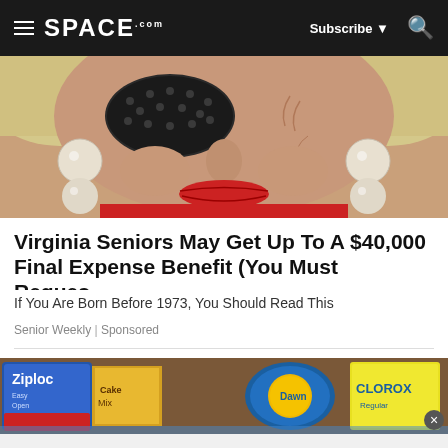SPACE.com | Subscribe | Search
[Figure (photo): Close-up photo of an elderly woman's face with pearl drop earrings, large dark polka-dot sunglasses, red lipstick, and blonde hair]
Virginia Seniors May Get Up To A $40,000 Final Expense Benefit (You Must Reques...
If You Are Born Before 1973, You Should Read This
Senior Weekly | Sponsored
[Figure (photo): Advertisement image showing household cleaning and storage products including Ziploc bags, Dawn dish soap, and Clorox bleach on a brown background]